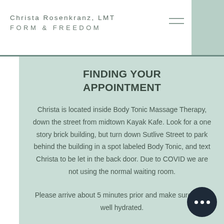Christa Rosenkranz, LMT
FORM & FREEDOM
FINDING YOUR APPOINTMENT
Christa is located inside Body Tonic Massage Therapy, down the street from midtown Kayak Kafe. Look for a one story brick building, but turn down Sutlive Street to park behind the building in a spot labeled Body Tonic, and text Christa to be let in the back door. Due to COVID we are not using the normal waiting room.
Please arrive about 5 minutes prior and make sure to be well hydrated.